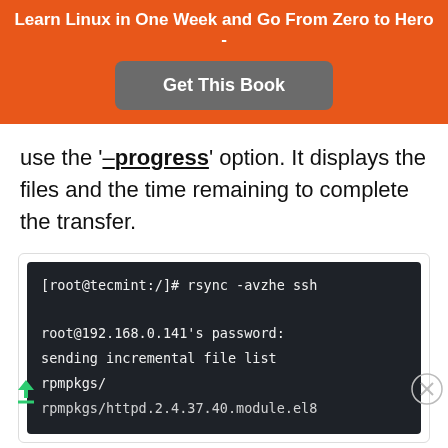Learn Linux in One Week and Go From Zero to Hero -
Get This Book
use the '–progress' option. It displays the files and the time remaining to complete the transfer.
[Figure (screenshot): Terminal screenshot showing rsync command: [root@tecmint:/]# rsync -avzhe ssh
root@192.168.0.141's password:
sending incremental file list
rpmpkgs/
rpmpkgs/httpd.2.4.37.40.module.el8]
[Figure (other): Victoria's Secret advertisement banner with woman photo, VS logo, SHOP THE COLLECTION text, and SHOP NOW button]